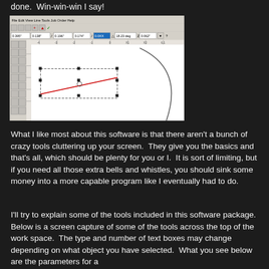done.  Win-win-win I say!
[Figure (screenshot): Screenshot of a vector drawing application (likely Inkscape or similar) showing a toolbar at top with menu items (File, Edit, View, Line, Tools, Job, Order, Help), coordinate/dimension input fields, and a canvas area with a dashed rectangle selection containing a node editing path with control points and a diagonal line (shown in red). A curved arc/circle outline is visible at the right side of the canvas.]
What I like most about this software is that there aren't a bunch of crazy tools cluttering up your screen.  They give you the basics and that's all, which should be plenty for you or I.  It is sort of limiting, but if you need all those extra bells and whistles, you should sink some money into a more capable program like I eventually had to do.
I'll try to explain some of the tools included in this software package.  Below is a screen capture of some of the tools across the top of the work space.  The type and number of text boxes may change depending on what object you have selected.  What you see below are the parameters for a